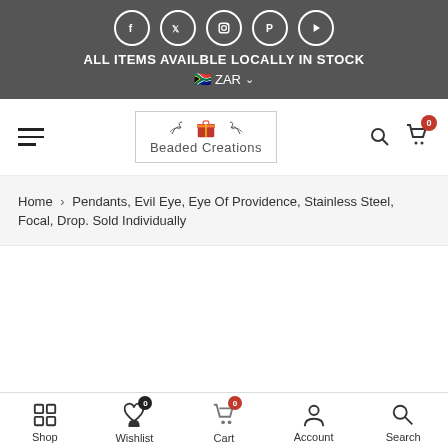ALL ITEMS AVAILBLE LOCALLY IN STOCK | ZAR
[Figure (logo): Beaded Creations logo with gift box icon and decorative leaves]
Home > Pendants, Evil Eye, Eye Of Providence, Stainless Steel, Focal, Drop. Sold Individually
Shop | Wishlist 0 | Cart 0 | Account | Search